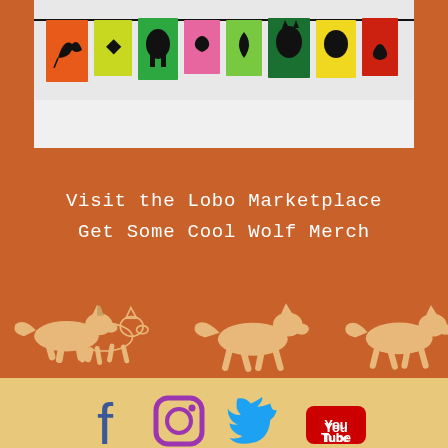[Figure (photo): Colorful linocut prints on paper hanging on a string — bird, wolf, leaf, vase, and other nature designs on orange, green, pink, yellow, blue, and red paper cards]
Visit the Lobo Marketplace
Get Some Cool Wolf Merch
[Figure (illustration): Three running wolf silhouettes in tan/beige color on a rust/brown background, repeated across the width of the banner]
[Figure (infographic): Social media icons: Facebook (blue), Instagram (purple), Twitter (blue), YouTube (red/white)]
The Grand Canyon Wolf Recovery Project is dedicated to bringing back wolves to help restore ecological health in the Grand Canyon region.